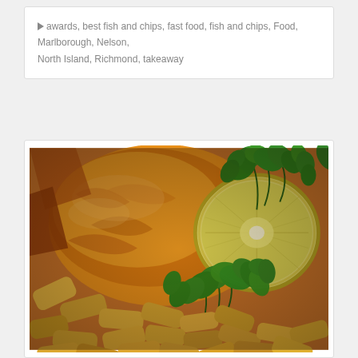awards, best fish and chips, fast food, fish and chips, Food, Marlborough, Nelson, North Island, Richmond, takeaway
[Figure (photo): Close-up photo of fish and chips (battered fish and thick-cut chips/fries) garnished with fresh green parsley and a halved lemon slice, warm golden-orange tones.]